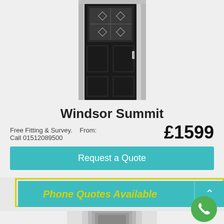[Figure (photo): Black composite front door (Windsor Summit) with decorative glass panel at the top and four lower panels, shown in a white door frame]
Windsor Summit
Free Fitting & Survey.    From:
Call 01512089500       £1599
Request a Quote
Phone Quotes Available
[Figure (photo): Partial view of a second door product at the bottom of the page]
[Figure (other): Green phone/call floating action button]